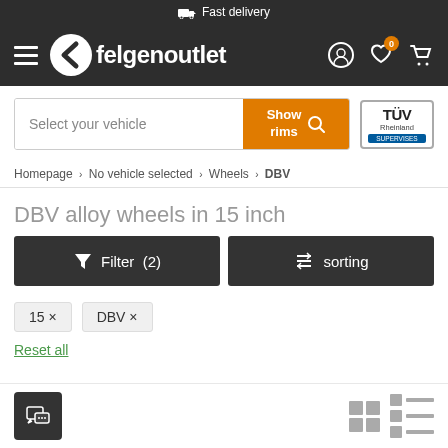Fast delivery
[Figure (logo): Felgenoutlet logo with hamburger menu, chevron icon, site name, user icon, heart with badge 0, cart icon]
[Figure (other): Search box with placeholder 'Select your vehicle', orange 'Show rims' button with magnifier icon, TÜV Rheinland supervises badge]
Homepage › No vehicle selected › Wheels › DBV
DBV alloy wheels in 15 inch
Filter (2)   sorting
15 ×
DBV ×
Reset all
[Figure (other): Chat button (dark square with chat icon) and grid/list view toggle icons at bottom bar]